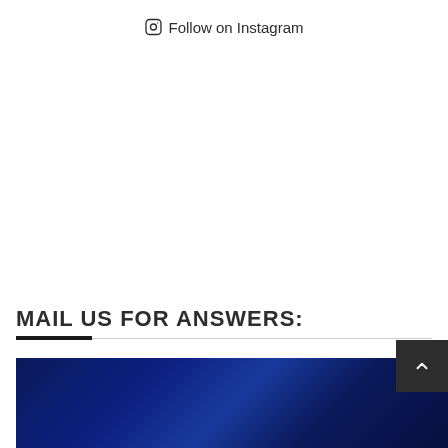Follow on Instagram
MAIL US FOR ANSWERS:
[Figure (photo): Dark blue textured background photo at bottom of page]